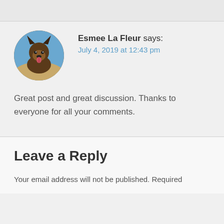[Figure (photo): Circular avatar photo of a German Shepherd dog with tongue out, outdoors in an open field]
Esmee La Fleur says: July 4, 2019 at 12:43 pm
Great post and great discussion. Thanks to everyone for all your comments.
Leave a Reply
Your email address will not be published. Required